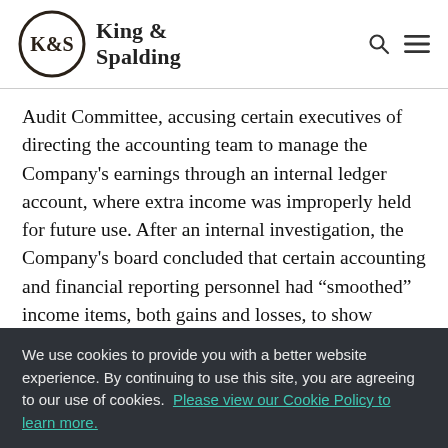[Figure (logo): King & Spalding law firm logo with circular K&S emblem and firm name]
Audit Committee, accusing certain executives of directing the accounting team to manage the Company's earnings through an internal ledger account, where extra income was improperly held for future use. After an internal investigation, the Company's board concluded that certain accounting and financial reporting personnel had “smoothed” income items, both gains and losses, to show
We use cookies to provide you with a better website experience. By continuing to use this site, you are agreeing to our use of cookies.  Please view our Cookie Policy to learn more.